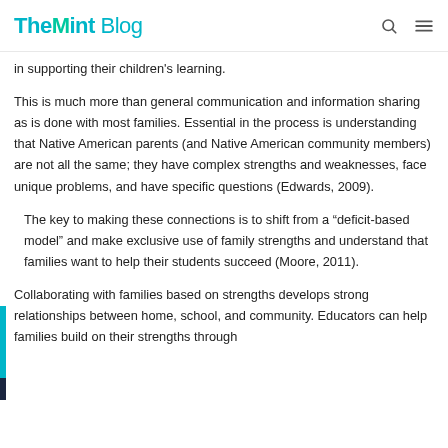TheMint Blog
in supporting their children's learning.
This is much more than general communication and information sharing as is done with most families. Essential in the process is understanding that Native American parents (and Native American community members) are not all the same; they have complex strengths and weaknesses, face unique problems, and have specific questions (Edwards, 2009).
The key to making these connections is to shift from a “deficit-based model” and make exclusive use of family strengths and understand that families want to help their students succeed (Moore, 2011).
Collaborating with families based on strengths develops strong relationships between home, school, and community. Educators can help families build on their strengths through